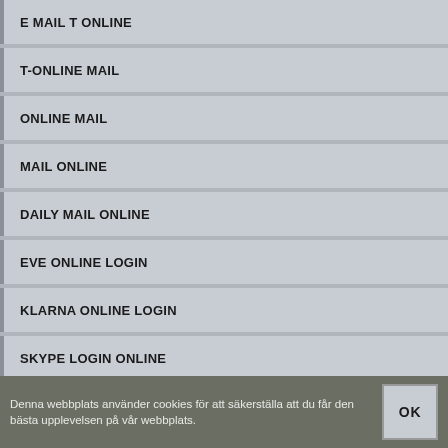E MAIL T ONLINE
T-ONLINE MAIL
ONLINE MAIL
MAIL ONLINE
DAILY MAIL ONLINE
EVE ONLINE LOGIN
KLARNA ONLINE LOGIN
SKYPE LOGIN ONLINE
Denna webbplats använder cookies för att säkerställa att du får den bästa upplevelsen på vår webbplats. OK